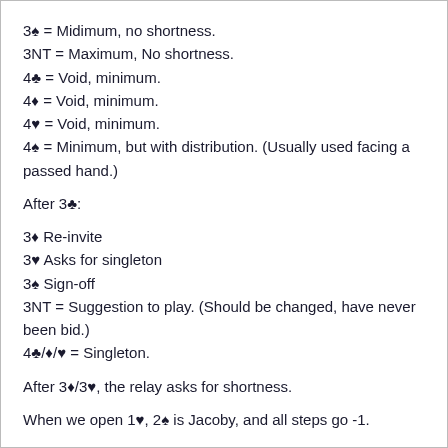3♠ = Midimum, no shortness.
3NT = Maximum, No shortness.
4♣ = Void, minimum.
4♦ = Void, minimum.
4♥ = Void, minimum.
4♠ = Minimum, but with distribution. (Usually used facing a passed hand.)
After 3♣:
3♦ Re-invite
3♥ Asks for singleton
3♠ Sign-off
3NT = Suggestion to play. (Should be changed, have never been bid.)
4♣/♦/♥ = Singleton.
After 3♦/3♥, the relay asks for shortness.
When we open 1♥, 2♠ is Jacoby, and all steps go -1.
I'm not a fanatic about this scheme, but it has served me well.